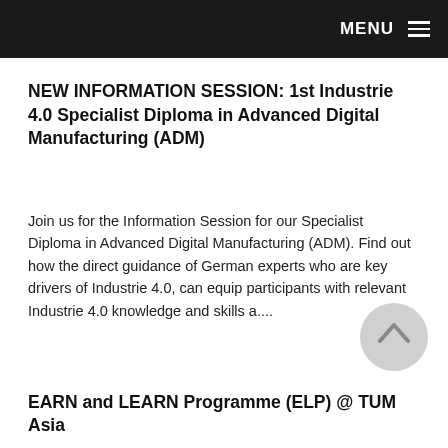MENU
NEW INFORMATION SESSION: 1st Industrie 4.0 Specialist Diploma in Advanced Digital Manufacturing (ADM)
Join us for the Information Session for our Specialist Diploma in Advanced Digital Manufacturing (ADM). Find out how the direct guidance of German experts who are key drivers of Industrie 4.0, can equip participants with relevant Industrie 4.0 knowledge and skills a....
EARN and LEARN Programme (ELP) @ TUM Asia